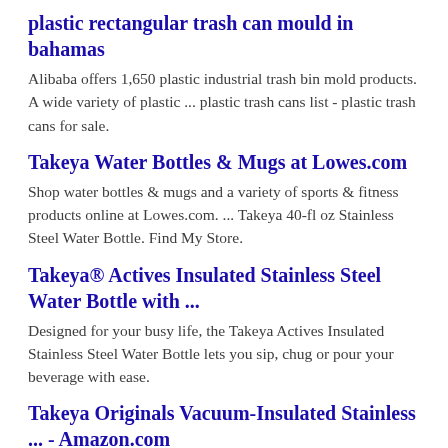plastic rectangular trash can mould in bahamas
Alibaba offers 1,650 plastic industrial trash bin mold products. A wide variety of plastic ... plastic trash cans list - plastic trash cans for sale.
Takeya Water Bottles & Mugs at Lowes.com
Shop water bottles & mugs and a variety of sports & fitness products online at Lowes.com. ... Takeya 40-fl oz Stainless Steel Water Bottle. Find My Store.
Takeya® Actives Insulated Stainless Steel Water Bottle with ...
Designed for your busy life, the Takeya Actives Insulated Stainless Steel Water Bottle lets you sip, chug or pour your beverage with ease.
Takeya Originals Vacuum-Insulated Stainless ... - Amazon.com
Shop Takeya at the Amazon Travel & To-Go Drinkware